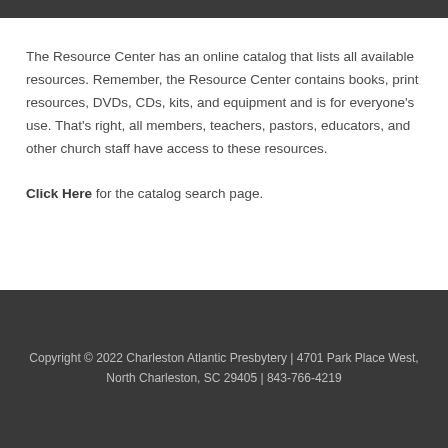The Resource Center has an online catalog that lists all available resources. Remember, the Resource Center contains books, print resources, DVDs, CDs, kits, and equipment and is for everyone's use. That's right, all members, teachers, pastors, educators, and other church staff have access to these resources.
Click Here for the catalog search page.
Copyright © 2022 Charleston Atlantic Presbytery | 4701 Park Place West, North Charleston, SC 29405 | 843-766-4219